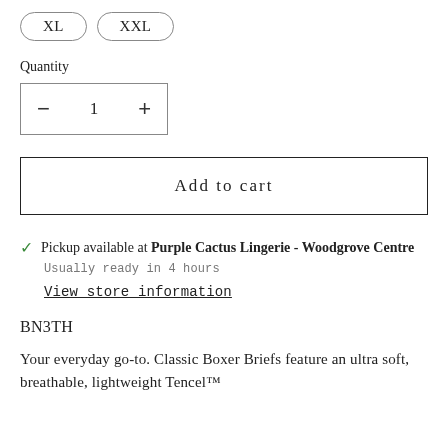[Figure (other): Size selector buttons showing XL and XXL options as rounded pill-shaped buttons]
Quantity
[Figure (other): Quantity selector box with minus button, number 1, and plus button]
[Figure (other): Add to cart button — large rectangular button with border]
Pickup available at Purple Cactus Lingerie - Woodgrove Centre
Usually ready in 4 hours
View store information
BN3TH
Your everyday go-to. Classic Boxer Briefs feature an ultra soft, breathable, lightweight Tencel™